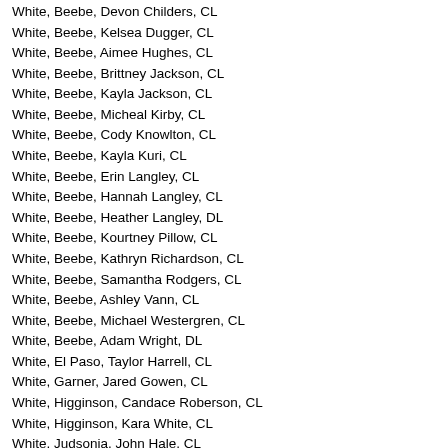White, Beebe, Devon Childers, CL
White, Beebe, Kelsea Dugger, CL
White, Beebe, Aimee Hughes, CL
White, Beebe, Brittney Jackson, CL
White, Beebe, Kayla Jackson, CL
White, Beebe, Micheal Kirby, CL
White, Beebe, Cody Knowlton, CL
White, Beebe, Kayla Kuri, CL
White, Beebe, Erin Langley, CL
White, Beebe, Hannah Langley, CL
White, Beebe, Heather Langley, DL
White, Beebe, Kourtney Pillow, CL
White, Beebe, Kathryn Richardson, CL
White, Beebe, Samantha Rodgers, CL
White, Beebe, Ashley Vann, CL
White, Beebe, Michael Westergren, CL
White, Beebe, Adam Wright, DL
White, El Paso, Taylor Harrell, CL
White, Garner, Jared Gowen, CL
White, Higginson, Candace Roberson, CL
White, Higginson, Kara White, CL
White, Judsonia, John Hale, CL
White, Judsonia, Chelsie Hargrove, CL
White, Judsonia, April Kurck, CL
White, Judsonia, Kennedy Lee, CL
White, Kensett, DeJa Banks, CL
White, Letona, Sarah Barnhart, CL
White, McRae, Hannah Gilliam, CL